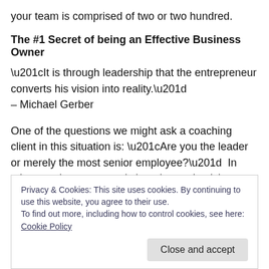your team is comprised of two or two hundred.
The #1 Secret of being an Effective Business Owner
“It is through leadership that the entrepreneur converts his vision into reality.”
– Michael Gerber
One of the questions we might ask a coaching client in this situation is: “Are you the leader or merely the most senior employee?”  In other words, are you truly learning and striving to become a leader in your business venture?  Or
Privacy & Cookies: This site uses cookies. By continuing to use this website, you agree to their use.
To find out more, including how to control cookies, see here: Cookie Policy